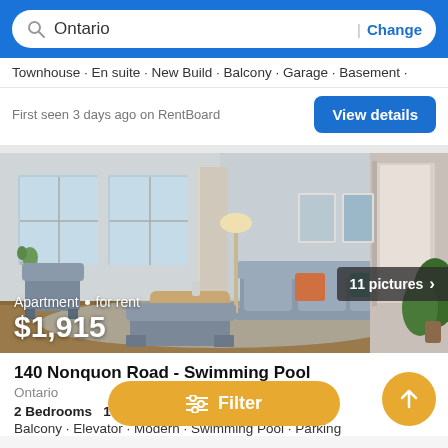Ontario | Change
Townhouse · En suite · New Build · Balcony · Garage · Basement ·
First seen 3 days ago on RentBoard
[Figure (photo): Interior photo of a furnished apartment living room with grey sofas, large windows, floor lamp, artwork on wall, and a hallway with plants. Badge reads '11 pictures ›'. Price overlay reads 'Apartment · for rent $1,915'.]
140 Nonquon Road - Swimming Pool
Ontario
2 Bedrooms  1 Bath
Balcony · Elevator · Modern · Swimming Pool · Parking